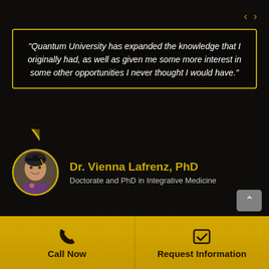"Quantum University has expanded the knowledge that I originally had, as well as given me some more interest in some other opportunities I never thought I would have."
Dr. Vienna Lafrenz, PhD
Doctorate and PhD in Integrative Medicine
© 2002 - 2021 IQUIM Inc. International Quantum University for Integrative Medicine.
Call Now
Request Information